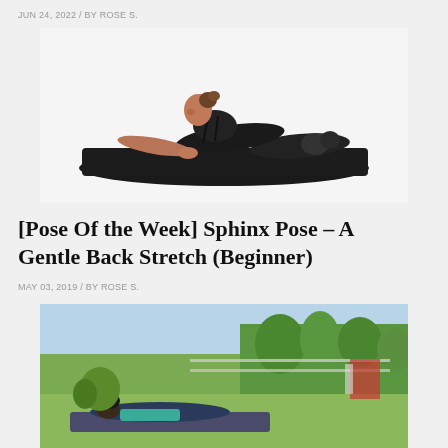JUN 24, 2022 / BY ROSE S.
[Figure (photo): A woman in black workout clothes performing sphinx pose on a dark yoga mat against a white background]
[Pose Of the Week] Sphinx Pose – A Gentle Back Stretch (Beginner)
MAY 03, 2019 / BY ROSE S.
[Figure (photo): A person performing a yoga pose outdoors on a mat, in a park with trees and greenery in the background]